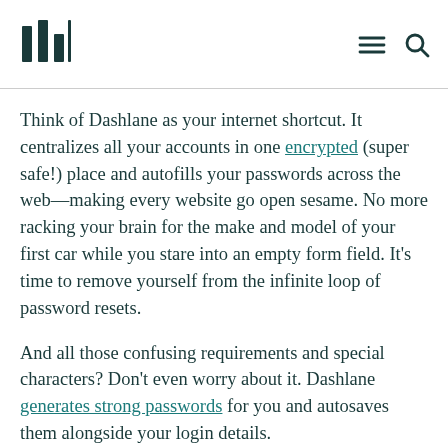Dashlane logo, menu icon, search icon
Think of Dashlane as your internet shortcut. It centralizes all your accounts in one encrypted (super safe!) place and autofills your passwords across the web—making every website go open sesame. No more racking your brain for the make and model of your first car while you stare into an empty form field. It's time to remove yourself from the infinite loop of password resets.
And all those confusing requirements and special characters? Don't even worry about it. Dashlane generates strong passwords for you and autosaves them alongside your login details.
But it's about more than just convenience, because